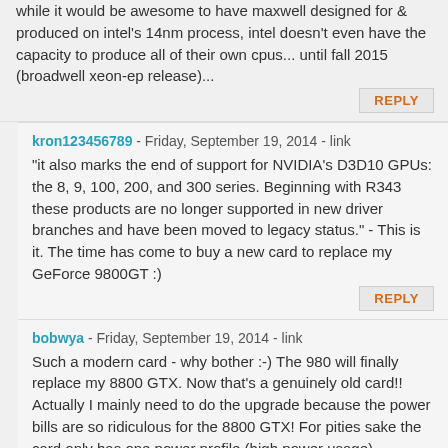while it would be awesome to have maxwell designed for & produced on intel's 14nm process, intel doesn't even have the capacity to produce all of their own cpus... until fall 2015 (broadwell xeon-ep release)...
REPLY
kron123456789 - Friday, September 19, 2014 - link
"it also marks the end of support for NVIDIA's D3D10 GPUs: the 8, 9, 100, 200, and 300 series. Beginning with R343 these products are no longer supported in new driver branches and have been moved to legacy status." - This is it. The time has come to buy a new card to replace my GeForce 9800GT :)
REPLY
bobwya - Friday, September 19, 2014 - link
Such a modern card - why bother :-) The 980 will finally replace my 8800 GTX. Now that's a genuinely old card!! Actually I mainly need to do the upgrade because the power bills are so ridiculous for the 8800 GTX! For pities sake the card only has one power profile (high power usage).
REPLY